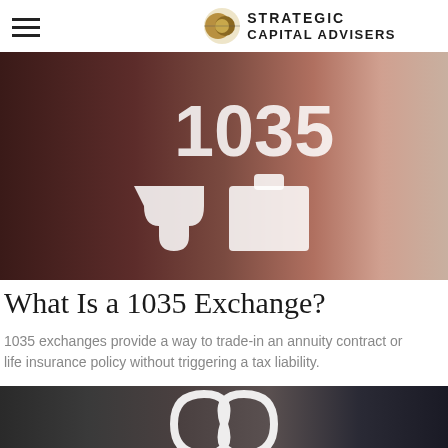Strategic Capital Advisers
[Figure (photo): Hero image showing puzzle pieces with '1035' text overlay, dark warm-toned background with blurred figures]
What Is a 1035 Exchange?
1035 exchanges provide a way to trade-in an annuity contract or life insurance policy without triggering a tax liability.
[Figure (photo): Bottom photo showing people in a dark meeting/office setting with a white infinity symbol overlay]